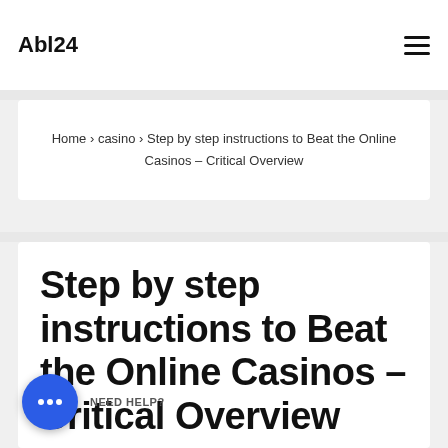Abl24
Home › casino › Step by step instructions to Beat the Online Casinos – Critical Overview
Step by step instructions to Beat the Online Casinos – Critical Overview